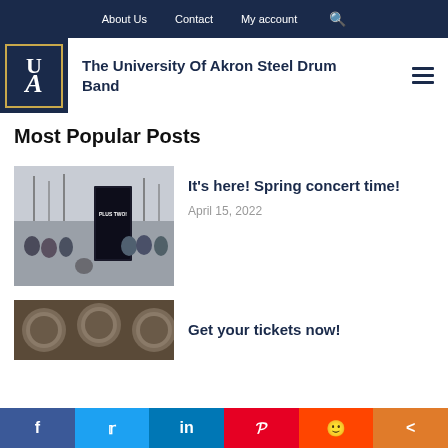About Us  Contact  My account
The University Of Akron Steel Drum Band
Most Popular Posts
[Figure (photo): Group of students standing outside near a concert poster that reads PLUS TWO!]
It's here! Spring concert time!
April 15, 2022
[Figure (photo): Close-up of steel drums/pans from above]
Get your tickets now!